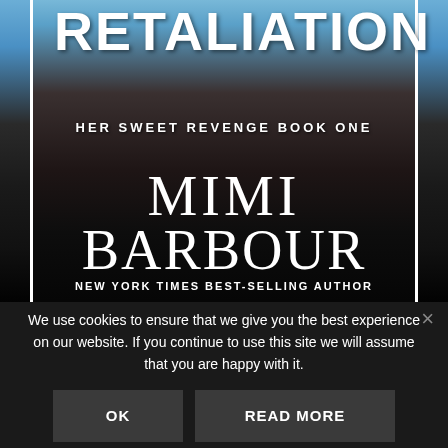[Figure (illustration): Book cover for 'Retaliation: Her Sweet Revenge Book One' by Mimi Barbour, New York Times Best-Selling Author. Dark cover with blue sky background at top, showing a torso image in the middle, with large white serif text for the author name and sans-serif bold text for the title.]
RETALIATION
HER SWEET REVENGE BOOK ONE
MIMI BARBOUR
NEW YORK TIMES BEST-SELLING AUTHOR
We use cookies to ensure that we give you the best experience on our website. If you continue to use this site we will assume that you are happy with it.
OK
READ MORE